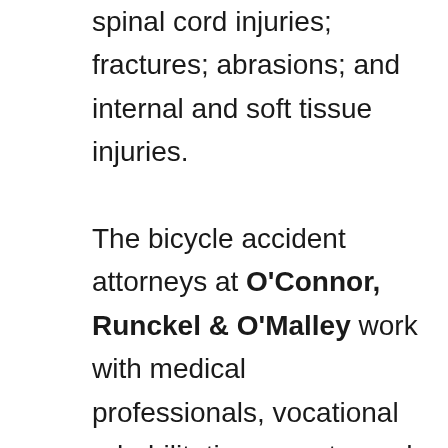spinal cord injuries; fractures; abrasions; and internal and soft tissue injuries.

The bicycle accident attorneys at O'Connor, Runckel & O'Malley work with medical professionals, vocational rehabilitation experts, and financial planners to determine all of the effects of serious injuries. We have the skill and experience to ensure that individuals and their families receive the financial support necessary to